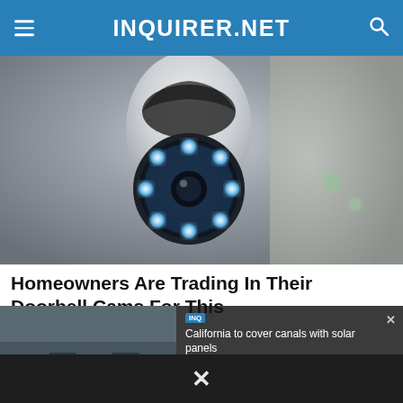INQUIRER.NET
[Figure (photo): Close-up photo of a white security camera with glowing blue LED ring lights, mounted on a ceiling or wall. The camera has a dome-like body with a circular array of illuminated LED lights around the lens.]
Homeowners Are Trading In Their Doorbell Cams For This
[Figure (screenshot): Video player overlay showing error message: 'The media could not be loaded, either because the server or network failed or because the format is not supported.' with a thumbnail of a California canal solar panel news story on the left side showing text 'CALIFORNIA TO COVER CANALS WITH SOLAR PANELS' and a close button X. Below is a dismiss/close bar with an X symbol.]